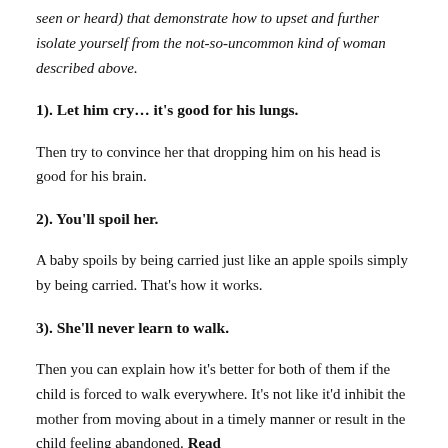seen or heard) that demonstrate how to upset and further isolate yourself from the not-so-uncommon kind of woman described above.
1).  Let him cry… it's good for his lungs.
Then try to convince her that dropping him on his head is good for his brain.
2).  You'll spoil her.
A baby spoils by being carried just like an apple spoils simply by being carried. That's how it works.
3).  She'll never learn to walk.
Then you can explain how it's better for both of them if the child is forced to walk everywhere. It's not like it'd inhibit the mother from moving about in a timely manner or result in the child feeling abandoned. Read